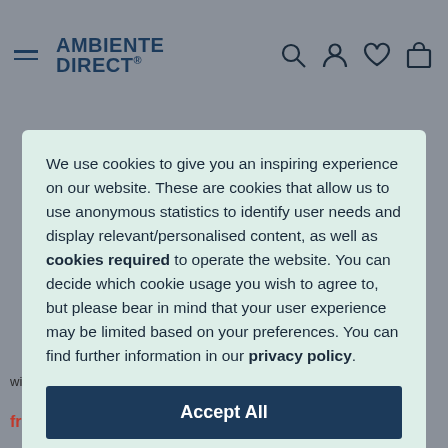AMBIENTE DIRECT
We use cookies to give you an inspiring experience on our website. These are cookies that allow us to use anonymous statistics to identify user needs and display relevant/personalised content, as well as cookies required to operate the website. You can decide which cookie usage you wish to agree to, but please bear in mind that your user experience may be limited based on your preferences. You can find further information in our privacy policy.
Accept All
Manage
with Foot D33cm   from € 450,00  € 563,00   from € 490,00  € 577,00